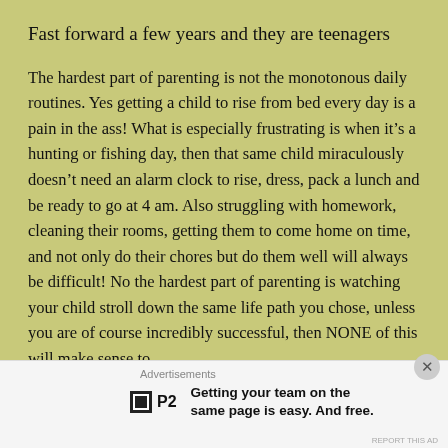Fast forward a few years and they are teenagers
The hardest part of parenting is not the monotonous daily routines. Yes getting a child to rise from bed every day is a pain in the ass! What is especially frustrating is when it’s a hunting or fishing day, then that same child miraculously doesn’t need an alarm clock to rise, dress, pack a lunch and be ready to go at 4 am. Also struggling with homework, cleaning their rooms, getting them to come home on time, and not only do their chores but do them well will always be difficult! No the hardest part of parenting is watching your child stroll down the same life path you chose, unless you are of course incredibly successful, then NONE of this will make sense to
Advertisements
Getting your team on the same page is easy. And free.